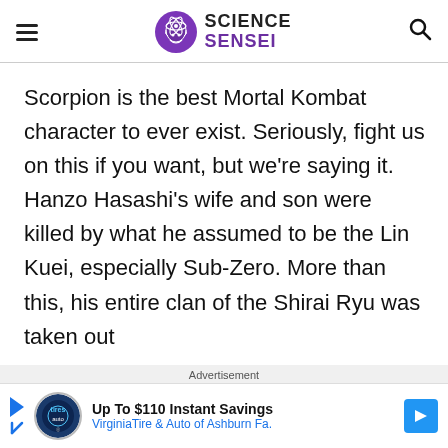SCIENCE SENSEI
Scorpion is the best Mortal Kombat character to ever exist. Seriously, fight us on this if you want, but we're saying it. Hanzo Hasashi's wife and son were killed by what he assumed to be the Lin Kuei, especially Sub-Zero. More than this, his entire clan of the Shirai Ryu was taken out
Advertisement
[Figure (infographic): Advertisement banner: Up To $110 Instant Savings - VirginiaTire & Auto of Ashburn Fa.]